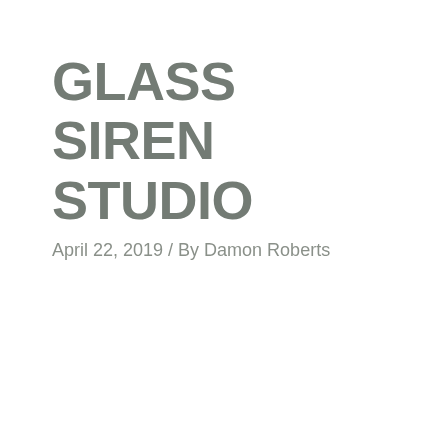GLASS SIREN STUDIO
April 22, 2019 / By Damon Roberts